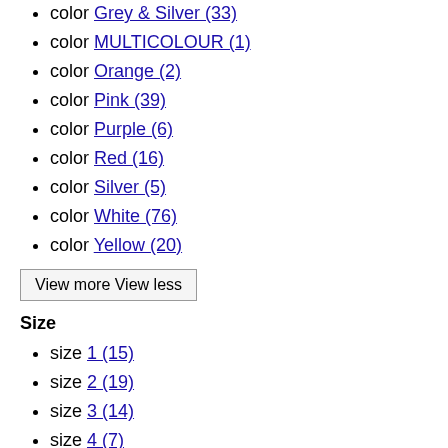color Grey & Silver (33)
color MULTICOLOUR (1)
color Orange (2)
color Pink (39)
color Purple (6)
color Red (16)
color Silver (5)
color White (76)
color Yellow (20)
View more View less
Size
size 1 (15)
size 2 (19)
size 3 (14)
size 4 (7)
size 30 (4)
size 32 (5)
size 34 (20)
size 35 (17)
size 36 (31)
size 36.5 (2)
size 37 (18)